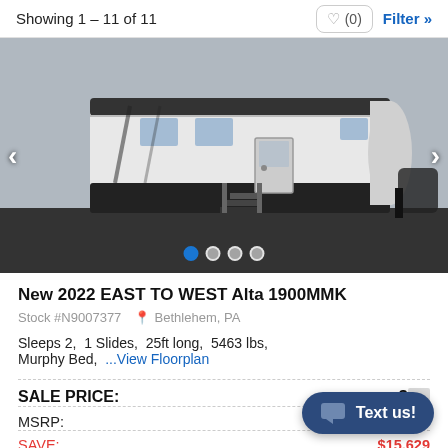Showing 1 – 11 of 11
[Figure (photo): RV travel trailer (2022 EAST TO WEST Alta 1900MMK) parked outdoors, white and black exterior with entry steps visible. Image carousel with 4 dots, first dot active.]
New 2022 EAST TO WEST Alta 1900MMK
Stock #N9007377  Bethlehem, PA
Sleeps 2,  1 Slides,  25ft long,  5463 lbs,  Murphy Bed,  ...View Floorplan
SALE PRICE:  $[partially obscured]
MSRP:
SAVE:  $15,629